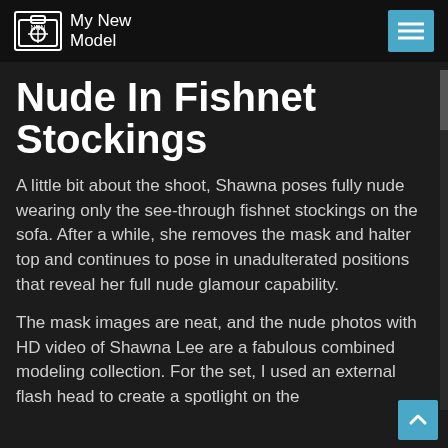My New Model
Nude in Fishnet Stockings
A little bit about the shoot, Shawna poses fully nude wearing only the see-through fishnet stockings on the sofa. After a while, she removes the mask and halter top and continues to pose in unadulterated positions that reveal her full nude glamour capability.
The mask images are neat, and the nude photos with HD video of Shawna Lee are a fabulous combined modeling collection. For the set, I used an external flash head to create a spotlight on the